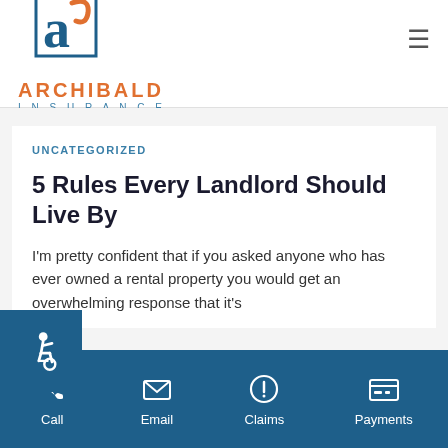[Figure (logo): Archibald Insurance logo — stylized blue 'a' with orange curl in a blue-bordered square, with 'ARCHIBALD' in orange and 'INSURANCE' in blue teal below]
UNCATEGORIZED
5 Rules Every Landlord Should Live By
I'm pretty confident that if you asked anyone who has ever owned a rental property you would get an overwhelming response that it's
[Figure (other): Accessibility wheelchair icon button on dark blue background on left side]
Call  Email  Claims  Payments